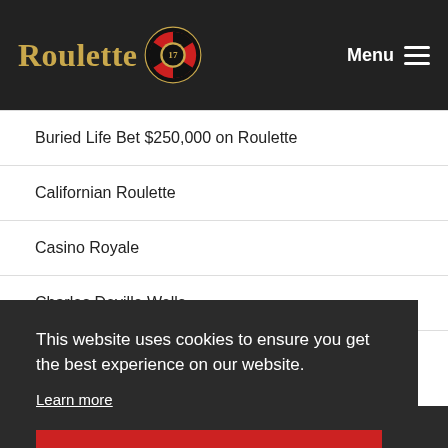Roulette 17 — Menu
Buried Life Bet $250,000 on Roulette
Californian Roulette
Casino Royale
Charles Deville Wells
This website uses cookies to ensure you get the best experience on our website.
Learn more
Got it!